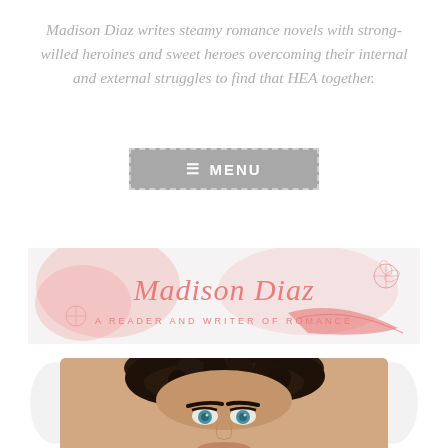Madison Diaz writes steamy romance novels with strong-willed heroines and sweet heroes overcoming their internal and external struggles to find that HEA together.
[Figure (other): Gray rectangular button with dashed border containing hamburger menu icon and the text MENU in white on gray background]
[Figure (illustration): Madison Diaz blog banner with pink watercolor flowers, cursive script 'Madison Diaz' in coral/pink, subtitle 'A READER AND WRITER OF ROMANCE' on light background with floral line art]
[Figure (photo): Close-up photo of a young man with curly dark hair and striking blue/green eyes, partially visible from forehead to mid-face]